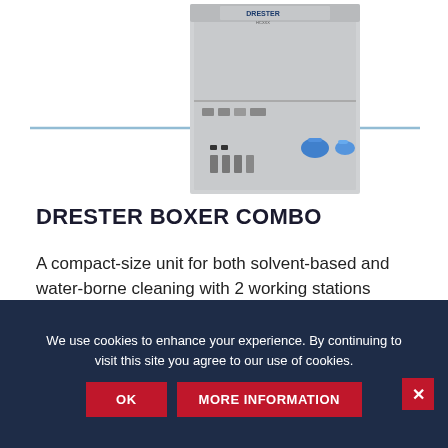[Figure (photo): Drester Boxer Combo industrial cleaning machine unit, stainless steel box with multiple dispensing nozzles and blue handles, shown against a white background with subtle blue line graphic.]
DRESTER BOXER COMBO
A compact-size unit for both solvent-based and water-borne cleaning with 2 working stations
READ MORE →
We use cookies to enhance your experience. By continuing to visit this site you agree to our use of cookies.
OK
MORE INFORMATION